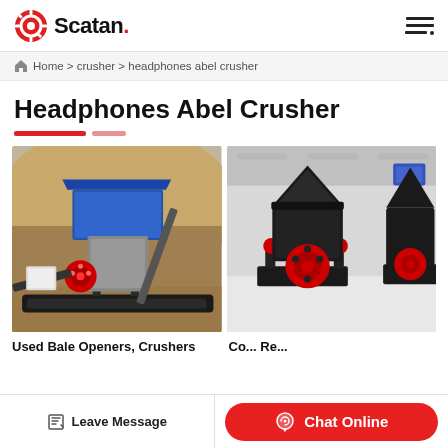Scatan.
Home > crusher > headphones abel crusher
Headphones Abel Crusher
[Figure (photo): Mobile jaw crusher machine outdoors at a quarry/construction site with sandy terrain, blue-covered structure, conveyor belts, and rocky hillside in background.]
[Figure (photo): Cone crusher machines (black and red) inside a factory/warehouse setting with industrial lighting and other equipment in background.]
Used Bale Openers, Crushers
Leave Message
Chat Online